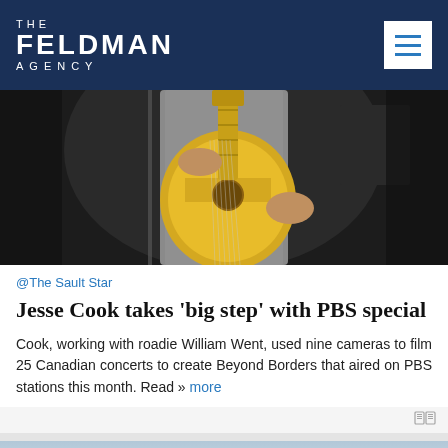THE FELDMAN AGENCY
[Figure (photo): A guitarist playing an acoustic guitar on a dark stage, wearing a grey shirt]
@The Sault Star
Jesse Cook takes 'big step' with PBS special
Cook, working with roadie William Went, used nine cameras to film 25 Canadian concerts to create Beyond Borders that aired on PBS stations this month. Read » more